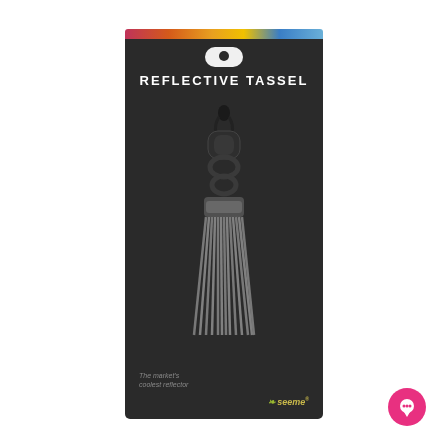[Figure (photo): Product packaging for a Reflective Tassel. Dark charcoal/black card with a colorful stripe at top (pink, orange, yellow, blue). The card has a hang slot at top. Text reads 'REFLECTIVE TASSEL'. The product shown is a grey reflective tassel with black metal swivel clip and key rings. Bottom left has small italic text 'The market...' and a 'seeme' logo bottom right.]